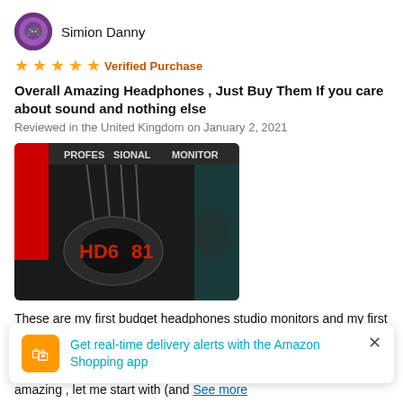Simion Danny
★★★★★ Verified Purchase
Overall Amazing Headphones , Just Buy Them If you care about sound and nothing else
Reviewed in the United Kingdom on January 2, 2021
[Figure (photo): Photo of HD681 Professional Monitor headphones packaging showing the headphones with red 'HD681' text and 'PROFESSIONAL MONITOR' label on dark background]
These are my first budget headphones studio monitors and my first monitor headphones ever bought . I also own the sho amazing , let me start with (and See more
Get real-time delivery alerts with the Amazon Shopping app